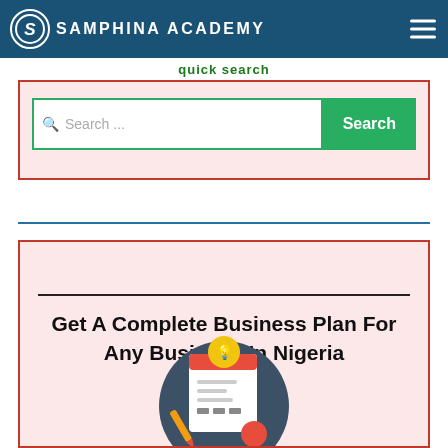SAMPHINA ACADEMY
quick search
[Figure (screenshot): Search bar with green border, search icon placeholder text 'Search ...' and green Search button]
Get A Complete Business Plan For Any Business In Nigeria
[Figure (illustration): Illustration of a business plan document with a lightbulb and pencil on a dark circular background]